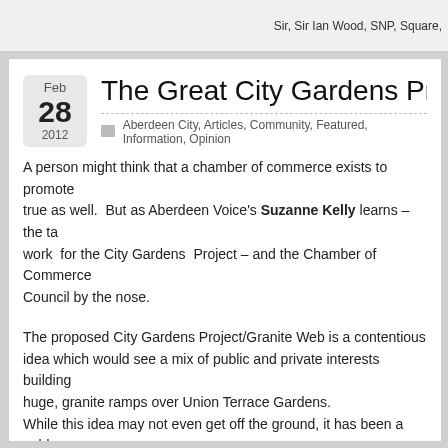Sir, Sir Ian Wood, SNP, Square,
The Great City Gardens Project G
Aberdeen City, Articles, Community, Featured, Information, Opinion
A person might think that a chamber of commerce exists to promote true as well.  But as Aberdeen Voice's Suzanne Kelly learns – the ta work  for the City Gardens  Project – and the Chamber of Commerce Council by the nose.
The proposed City Gardens Project/Granite Web is a contentious idea which would see a mix of public and private interests building huge, granite ramps over Union Terrace Gardens.
While this idea may not even get off the ground, it has been a gold mine for some fortunate businesses via the Aberdeen & Grampian Chamber of Commerce – at the taxpayer's expense.
This article will primarily deal with money that the City Council was invoiced by the